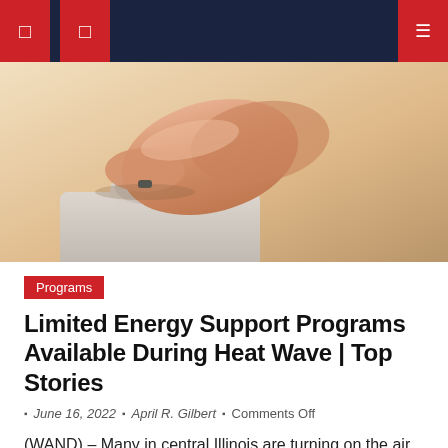Navigation bar with icons
[Figure (photo): Close-up photo of a person's finger pressing a thermostat or dial control button, on a light yellow/cream background with an appliance partially visible below.]
Programs
Limited Energy Support Programs Available During Heat Wave | Top Stories
June 16, 2022  April R. Gilbert  Comments Off
(WAND) – Many in central Illinois are turning on the air conditioning during this extreme heat. It can drive up electric bills, and it happens in the same month that customers are expected to pay more for electricity in the state.